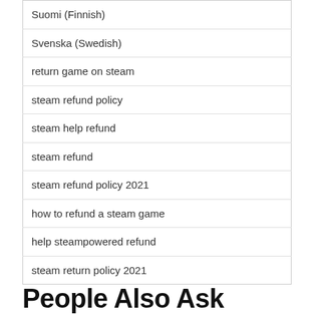| Suomi (Finnish) |
| Svenska (Swedish) |
| return game on steam |
| steam refund policy |
| steam help refund |
| steam refund |
| steam refund policy 2021 |
| how to refund a steam game |
| help steampowered refund |
| steam return policy 2021 |
People Also Ask